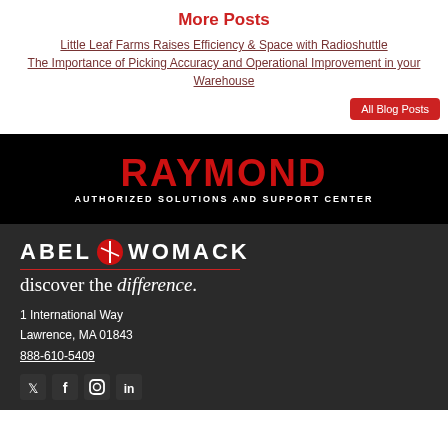More Posts
Little Leaf Farms Raises Efficiency & Space with Radioshuttle
The Importance of Picking Accuracy and Operational Improvement in your Warehouse
All Blog Posts
[Figure (logo): Raymond Authorized Solutions and Support Center logo — white text on black background]
[Figure (logo): Abel Womack logo with tagline 'discover the difference.' on dark background]
1 International Way
Lawrence, MA 01843
888-610-5409
[Figure (other): Social media icons row (Twitter, Facebook, Instagram, LinkedIn)]